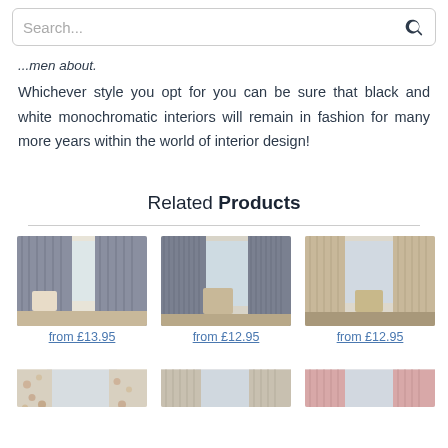Search...
...men about.
Whichever style you opt for you can be sure that black and white monochromatic interiors will remain in fashion for many more years within the world of interior design!
Related Products
[Figure (photo): Grey eyelet curtains hanging in a room - from £13.95]
[Figure (photo): Grey pencil pleat curtains hanging in a room - from £12.95]
[Figure (photo): Beige/taupe curtains in a room - from £12.95]
[Figure (photo): Floral curtains in a room]
[Figure (photo): Beige eyelet curtains in a room]
[Figure (photo): Pink eyelet curtains in a room]